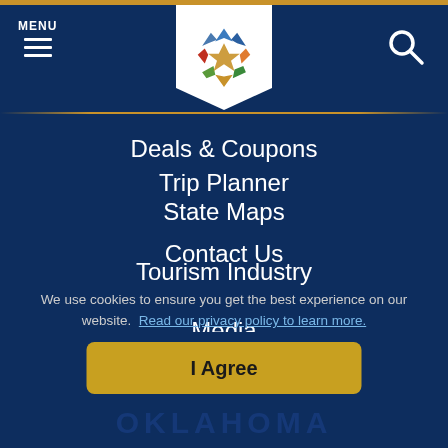MENU [hamburger] [logo] [search]
Deals & Coupons
State Maps
Tourism Industry
Media
Advertise With Us
Trip Planner
Contact Us
We use cookies to ensure you get the best experience on our website. Read our privacy policy to learn more.
I Agree